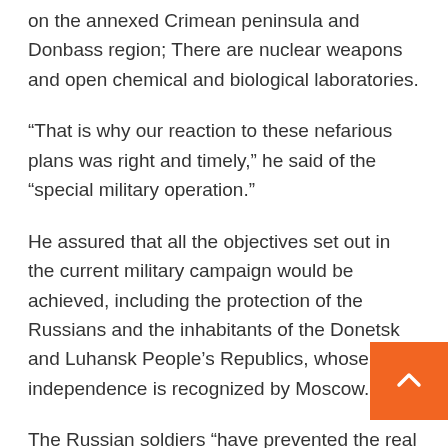on the annexed Crimean peninsula and Donbass region; There are nuclear weapons and open chemical and biological laboratories.
“That is why our reaction to these nefarious plans was right and timely,” he said of the “special military operation.”
He assured that all the objectives set out in the current military campaign would be achieved, including the protection of the Russians and the inhabitants of the Donetsk and Luhansk People’s Republics, whose independence is recognized by Moscow.
The Russian soldiers “have prevented the real danger already looming in our homeland (…), except for the scale of the conflict that has developed in our territory, but already according to a foreign script,” he explained.